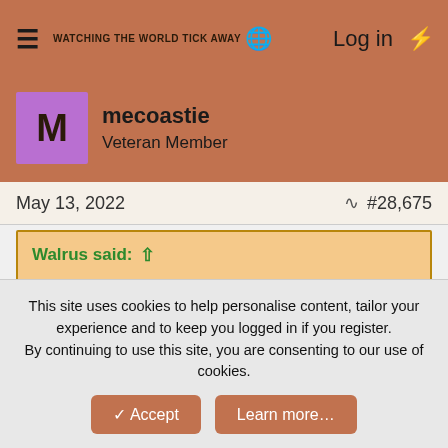≡ WATCHING THE WORLD TICK AWAY 🌐  Log in ⚡
M  mecoastie
Veteran Member
May 13, 2022   #28,675
Walrus said: ↑
(h/t WRSA and GoV) fair use, etc.
The Kosovo Question Applied to the DPR and the LPR | Gates of Vienna
This site uses cookies to help personalise content, tailor your experience and to keep you logged in if you register. By continuing to use this site, you are consenting to our use of cookies.